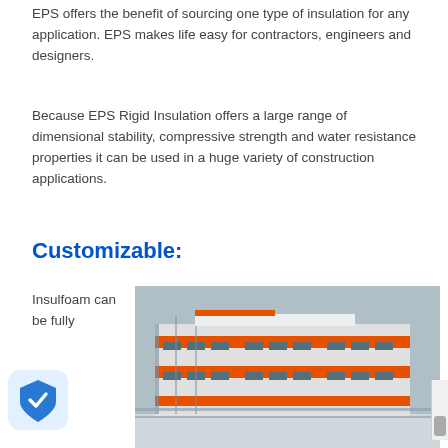EPS offers the benefit of sourcing one type of insulation for any application. EPS makes life easy for contractors, engineers and designers.
Because EPS Rigid Insulation offers a large range of dimensional stability, compressive strength and water resistance properties it can be used in a huge variety of construction applications.
Customizable:
Insulfoam can be fully
[Figure (photo): A multi-storey commercial building under construction in winter, with orange and white exterior panels, set against a grey sky. Snow is visible on the ground.]